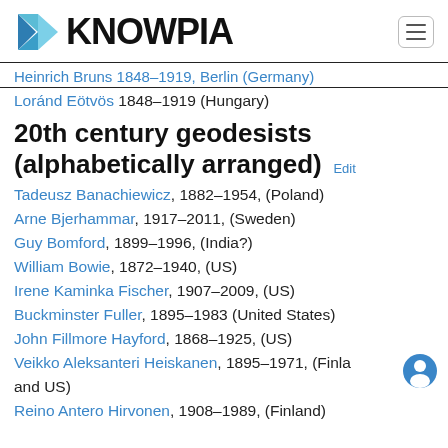KNOWPIA
Heinrich Bruns 1848–1919, Berlin (Germany)
Loránd Eötvös 1848–1919 (Hungary)
20th century geodesists (alphabetically arranged) Edit
Tadeusz Banachiewicz, 1882–1954, (Poland)
Arne Bjerhammar, 1917–2011, (Sweden)
Guy Bomford, 1899–1996, (India?)
William Bowie, 1872–1940, (US)
Irene Kaminka Fischer, 1907–2009, (US)
Buckminster Fuller, 1895–1983 (United States)
John Fillmore Hayford, 1868–1925, (US)
Veikko Aleksanteri Heiskanen, 1895–1971, (Finland and US)
Reino Antero Hirvonen, 1908–1989, (Finland)